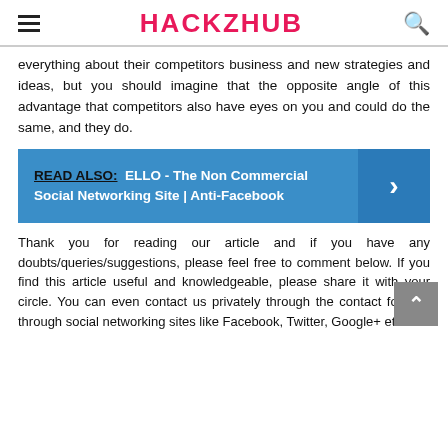HACKZHUB
everything about their competitors business and new strategies and ideas, but you should imagine that the opposite angle of this advantage that competitors also have eyes on you and could do the same, and they do.
READ ALSO:  ELLO - The Non Commercial Social Networking Site | Anti-Facebook
Thank you for reading our article and if you have any doubts/queries/suggestions, please feel free to comment below. If you find this article useful and knowledgeable, please share it with your circle. You can even contact us privately through the contact form or through social networking sites like Facebook, Twitter, Google+ etc.